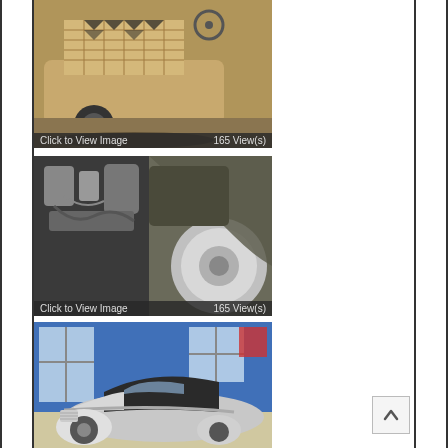[Figure (photo): Photo of a vintage/custom car under construction, golden tan colored body with cutout patterns on the hood, shown from an angle. Overlay text: 'Click to View Image' and '165 View(s)']
[Figure (photo): Photo of a dark military-style or custom vehicle with exposed engine/mechanical parts visible on left, large chrome wheel/fender on right. Overlay text: 'Click to View Image' and '165 View(s)']
[Figure (photo): Photo of a silver/chrome vintage open-top classic car inside a blue-walled showroom or garage, partially visible at bottom of page.]